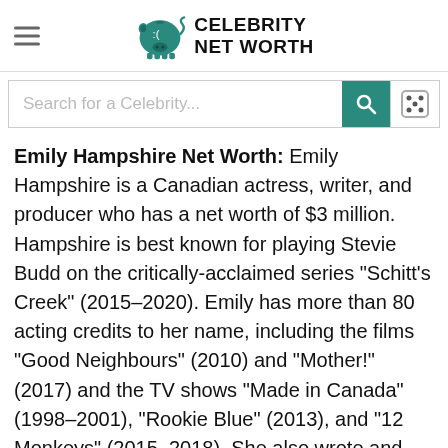Celebrity Net Worth
Search for a Celebrity...
Emily Hampshire Net Worth: Emily Hampshire is a Canadian actress, writer, and producer who has a net worth of $3 million. Hampshire is best known for playing Stevie Budd on the critically-acclaimed series "Schitt's Creek" (2015–2020). Emily has more than 80 acting credits to her name, including the films "Good Neighbours" (2010) and "Mother!" (2017) and the TV shows "Made in Canada" (1998–2001), "Rookie Blue" (2013), and "12 Monkeys" (2015–2018). She also wrote and produced the web series "Humpday with Hampshire" (2020), and in early 2021, it was announced that she would be starring in, producing, and co-writing a reboot of "Mary Hartman, Mary Hartman" for Sony Pictures Television.